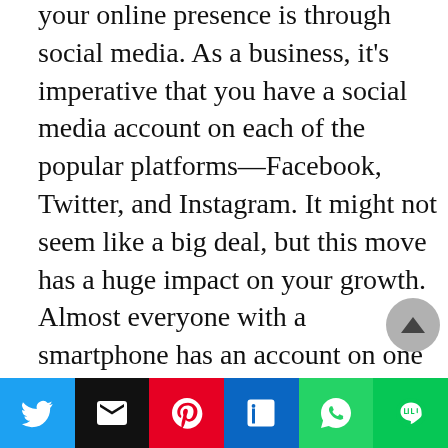your online presence is through social media. As a business, it's imperative that you have a social media account on each of the popular platforms—Facebook, Twitter, and Instagram. It might not seem like a big deal, but this move has a huge impact on your growth. Almost everyone with a smartphone has an account on one of the aforementioned social media platforms. Therefore, increasing your activity on these channels will boost your popularity. In the long run, you'll find yourself attracting more clients who're willing to do business with you.

Another way of improving your online presence is by building an attractive website. If you're not sure
[Figure (other): Social sharing bar with icons for Twitter, Email, Pinterest, LinkedIn, WhatsApp, and LINE]